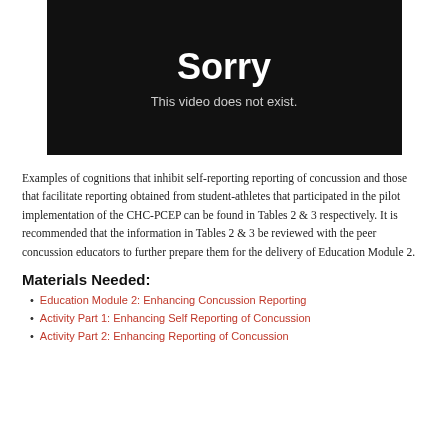[Figure (screenshot): Video player error screen with black background showing 'Sorry' in large white bold text and 'This video does not exist.' in smaller gray text below.]
Examples of cognitions that inhibit self-reporting reporting of concussion and those that facilitate reporting obtained from student-athletes that participated in the pilot implementation of the CHC-PCEP can be found in Tables 2 & 3 respectively. It is recommended that the information in Tables 2 & 3 be reviewed with the peer concussion educators to further prepare them for the delivery of Education Module 2.
Materials Needed:
Education Module 2: Enhancing Concussion Reporting
Activity Part 1: Enhancing Self Reporting of Concussion
Activity Part 2: Enhancing Reporting of Concussion